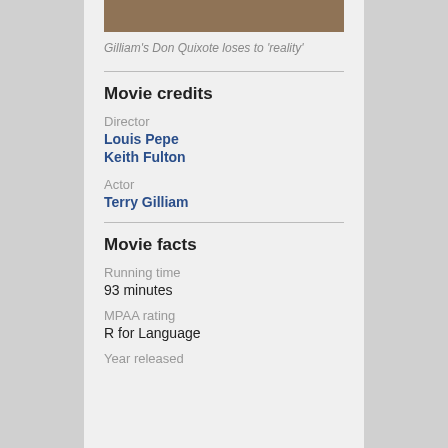[Figure (photo): Top portion of a photo showing a person, partially cropped]
Gilliam's Don Quixote loses to 'reality'
Movie credits
Director
Louis Pepe
Keith Fulton
Actor
Terry Gilliam
Movie facts
Running time
93 minutes
MPAA rating
R for Language
Year released